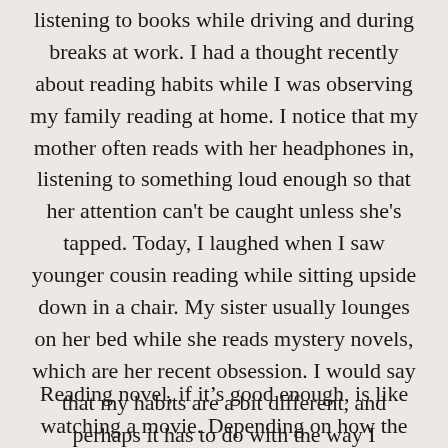listening to books while driving and during breaks at work. I had a thought recently about reading habits while I was observing my family reading at home. I notice that my mother often reads with her headphones in, listening to something loud enough so that her attention can't be caught unless she's tapped. Today, I laughed when I saw younger cousin reading while sitting upside down in a chair. My sister usually lounges on her bed while she reads mystery novels, which are her recent obsession. I would say that my habits are a bit different, and perhaps it has to do with the way I experience stories in my imagination.
Reading novel, if it's good enough, is like watching a movie. Depending on how the author writes the